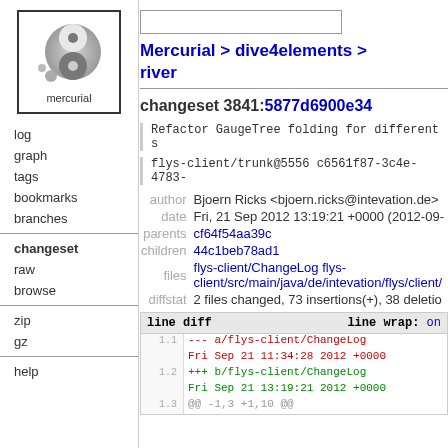[Figure (logo): Mercurial logo - grey spiral/yin-yang style icon with text 'mercurial' below]
log
graph
tags
bookmarks
branches
changeset
raw
browse
zip
gz
help
Mercurial > dive4elements > river
changeset 3841:5877d6900e34
Refactor GaugeTree folding for different s
flys-client/trunk@5556 c6561f87-3c4e-4783-
author Bjoern Ricks <bjoern.ricks@intevation.de>
date Fri, 21 Sep 2012 13:19:21 +0000 (2012-09-
parents cf64f54aa39c
children 44c1beb78ad1
files flys-client/ChangeLog flys-client/src/main/java/de/intevation/flys/client/
diffstat 2 files changed, 73 insertions(+), 38 deletio
line diff    line wrap: on
1.1 --- a/flys-client/ChangeLog
    Fri Sep 21 11:34:28 2012 +0000
1.2 +++ b/flys-client/ChangeLog
    Fri Sep 21 13:19:21 2012 +0000
1.3 @@ -1,3 +1,10 @@